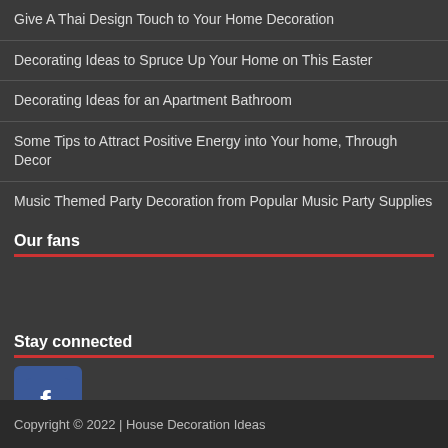Give A Thai Design Touch to Your Home Decoration
Decorating Ideas to Spruce Up Your Home on This Easter
Decorating Ideas for an Apartment Bathroom
Some Tips to Attract Positive Energy into Your home, Through Decor
Music Themed Party Decoration from Popular Music Party Supplies
Our fans
Stay connected
[Figure (logo): Facebook logo icon - blue square with white 'f' letter]
Copyright © 2022 | House Decoration Ideas